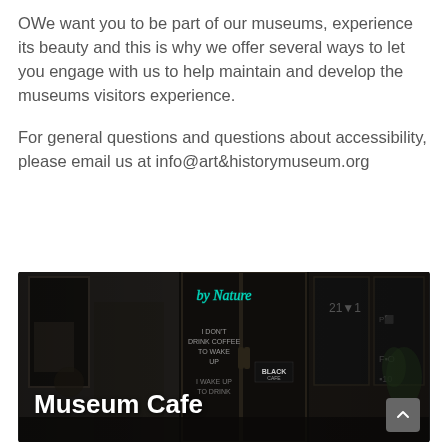OWe want you to be part of our museums, experience its beauty and this is why we offer several ways to let you engage with us to help maintain and develop the museums visitors experience.

For general questions and questions about accessibility, please email us at info@art&historymuseum.org
[Figure (photo): A dark cafe interior at night with neon sign reading 'by Nature' above the entrance. Text on window reads 'I DON'T DRINK COFFEE TO WAKE UP' and 'I WAKE UP TO DRINK COFFEE'. A 'BLACK cafe' sign is visible inside. White overlay text reads 'Museum Cafe'. A scroll-up button is in the bottom right corner.]